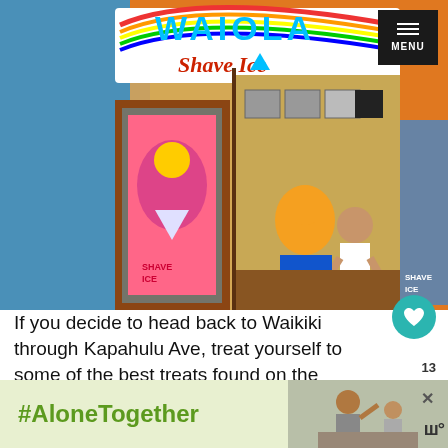[Figure (photo): Exterior of Waiola Shave Ice store with colorful sign and staff member visible inside, decorated with shave ice promotional posters]
If you decide to head back to Waikiki through Kapahulu Ave, treat yourself to some of the best treats found on the island.  Leonard's Bakery is right off the freeway, and their fresh hot malasadas!  Need something a little more refreshing on the chill side? How a...
[Figure (photo): WHAT'S NEXT: Hiking to Maunawili... thumbnail image]
[Figure (photo): Ad banner: #AloneTogether with image of people]